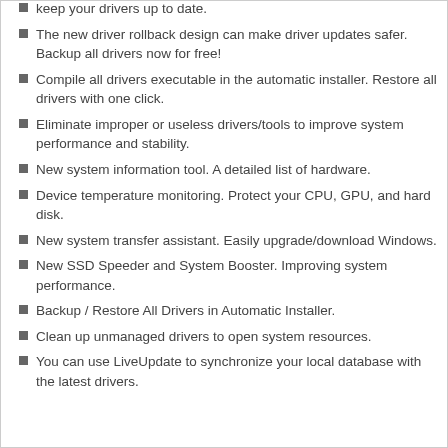keep your drivers up to date.
The new driver rollback design can make driver updates safer. Backup all drivers now for free!
Compile all drivers executable in the automatic installer. Restore all drivers with one click.
Eliminate improper or useless drivers/tools to improve system performance and stability.
New system information tool. A detailed list of hardware.
Device temperature monitoring. Protect your CPU, GPU, and hard disk.
New system transfer assistant. Easily upgrade/download Windows.
New SSD Speeder and System Booster. Improving system performance.
Backup / Restore All Drivers in Automatic Installer.
Clean up unmanaged drivers to open system resources.
You can use LiveUpdate to synchronize your local database with the latest drivers.